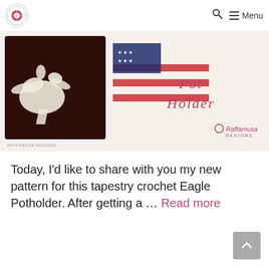Raffamusa Designs - Logo, Search, Menu
[Figure (photo): Tapestry crochet Eagle Potholder product photo showing two crocheted pot holders — one dark brown with a white eagle silhouette, and one cream/white with an American flag design in red, white, and blue. Text overlay reads 'Pot Holder' and 'Raffamusa Designs'.]
Today, I'd like to share with you my new pattern for this tapestry crochet Eagle Potholder. After getting a … Read more